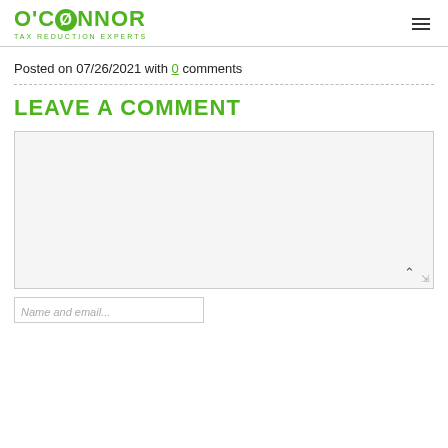O'CONNOR Tax Reduction Experts
Posted on 07/26/2021 with 0 comments
LEAVE A COMMENT